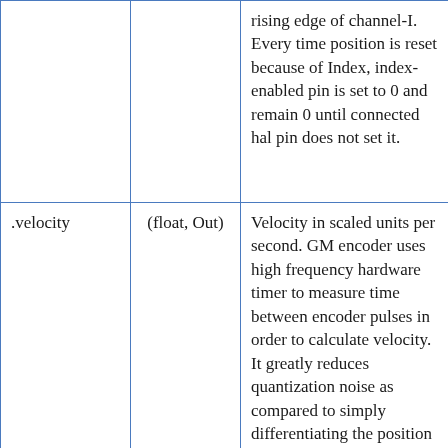|  |  | rising edge of channel-I. Every time position is reset because of Index, index-enabled pin is set to 0 and remain 0 until connected hal pin does not set it. |
| .velocity | (float, Out) | Velocity in scaled units per second. GM encoder uses high frequency hardware timer to measure time between encoder pulses in order to calculate velocity. It greatly reduces quantization noise as compared to simply differentiating the position output. When the measured velocity is below min-speed-estimate, the velocity |